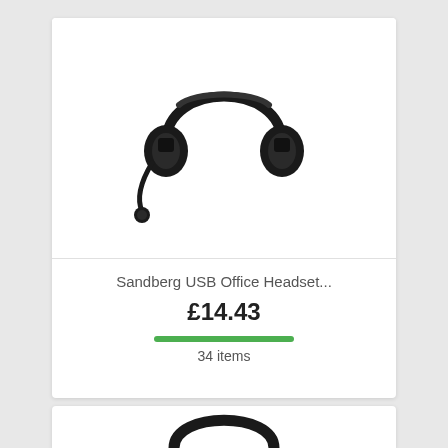[Figure (photo): Black Sandberg USB office headset with microphone boom, over-ear design, white background]
Sandberg USB Office Headset...
£14.43
34 items
[Figure (photo): Partial view of another headset at the bottom of the page]